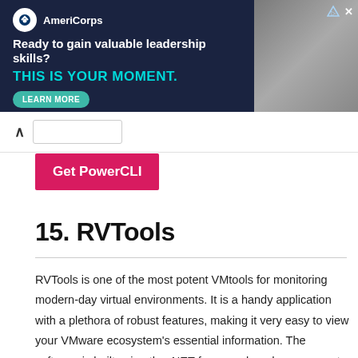[Figure (other): AmeriCorps advertisement banner with dark navy background. Logo with white circle, text 'AmeriCorps'. Tagline: 'Ready to gain valuable leadership skills? THIS IS YOUR MOMENT.' with a teal Learn More button. Right side shows a photo of people.]
Get PowerCLI
15. RVTools
RVTools is one of the most potent VMtools for monitoring modern-day virtual environments. It is a handy application with a plethora of robust features, making it very easy to view your VMware ecosystem's essential information. The software is built using the .NET framework and can connect with several VMware tools such as VirtualCenter appliances, standard ESX Servers, VirtualCenter 2.5, to name a few.